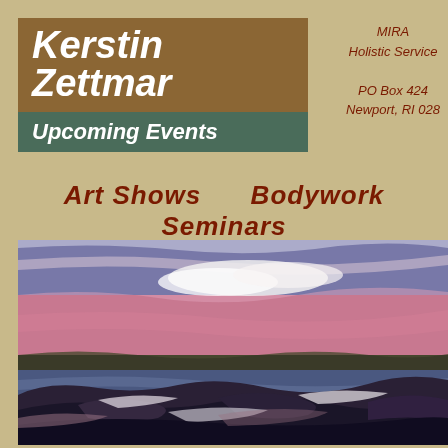Kerstin Zettmar
Upcoming Events
MIRA
Holistic Service
PO Box 424
Newport, RI 028
Art Shows    Bodywork Seminars
[Figure (illustration): A textile or fiber art piece depicting a coastal seascape with rocky shoreline, crashing waves, dark rocks in the foreground, and a pink and purple sky with clouds above a dark tree line on the horizon.]